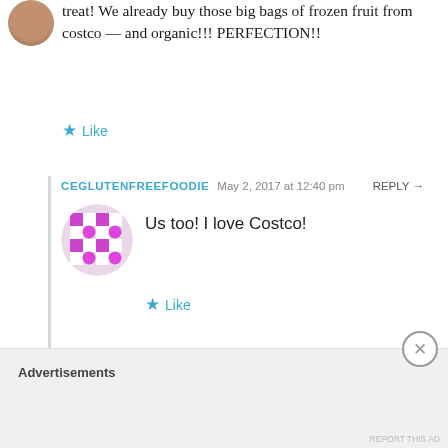treat! We already buy those big bags of frozen fruit from costco — and organic!!! PERFECTION!!
Like
CEGLUTENFREEFOODIE   May 2, 2017 at 12:40 pm   REPLY →
Us too! I love Costco!
Like
KRISTEENA   April 27, 2017 at 11:45 pm   REPLY →
Advertisements